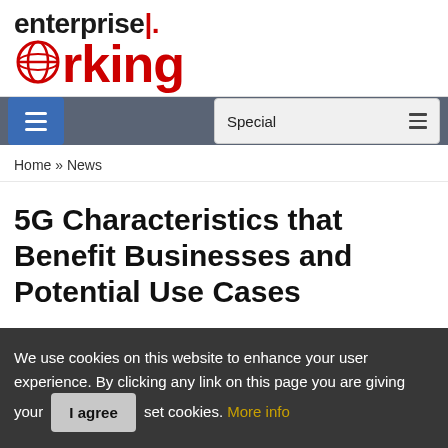[Figure (logo): Enterprise Networking magazine logo with 'enterprise' in black bold and 'networking' in red bold with globe icon]
Special
Home » News
5G Characteristics that Benefit Businesses and Potential Use Cases
We use cookies on this website to enhance your user experience. By clicking any link on this page you are giving your  I agree  set cookies. More info